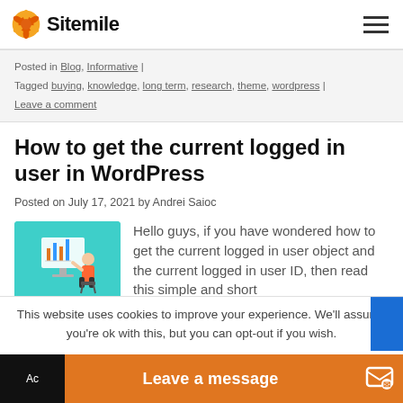Sitemile
Posted in Blog, Informative | Tagged buying, knowledge, long term, research, theme, wordpress | Leave a comment
How to get the current logged in user in WordPress
Posted on July 17, 2021 by Andrei Saioc
[Figure (illustration): Illustration of a person working at a computer with a chart on screen, teal/green background]
Hello guys, if you have wondered how to get the current logged in user object and the current logged in user ID, then read this simple and short
This website uses cookies to improve your experience. We'll assume you're ok with this, but you can opt-out if you wish.
Leave a message